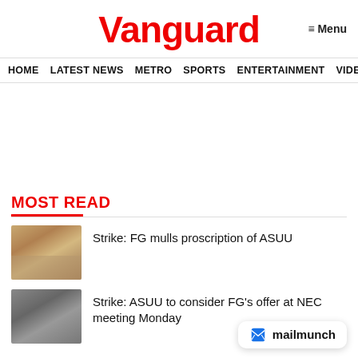Vanguard
≡ Menu
HOME  LATEST NEWS  METRO  SPORTS  ENTERTAINMENT  VIDEOS
MOST READ
Strike: FG mulls proscription of ASUU
Strike: ASUU to consider FG's offer at NEC meeting Monday